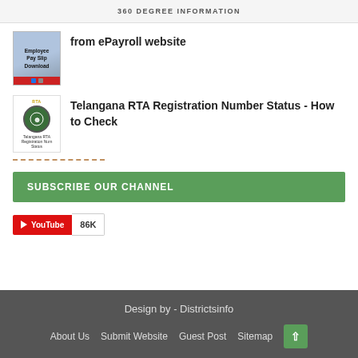360 DEGREE INFORMATION
from ePayroll website
[Figure (screenshot): Employee Pay Slip Download thumbnail image]
Telangana RTA Registration Number Status - How to Check
[Figure (screenshot): Telangana RTA Registration Number Status thumbnail with emblem]
SUBSCRIBE OUR CHANNEL
[Figure (logo): YouTube subscribe widget showing 86K subscribers]
Design by - Districtsinfo
About Us   Submit Website   Guest Post   Sitemap